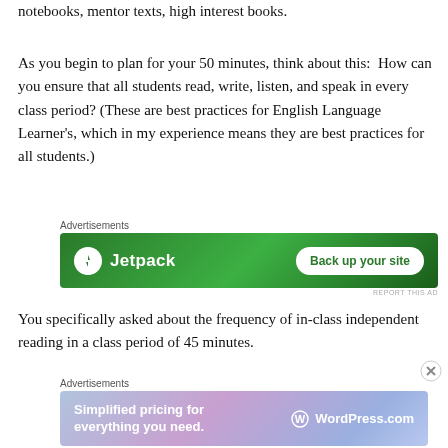include these tools as well: Highlighters, writer's notebooks, mentor texts, high interest books.
As you begin to plan for your 50 minutes, think about this: How can you ensure that all students read, write, listen, and speak in every class period? (These are best practices for English Language Learner's, which in my experience means they are best practices for all students.)
[Figure (screenshot): Jetpack advertisement banner: green background with Jetpack logo and 'Back up your site' button]
You specifically asked about the frequency of in-class independent reading in a class period of 45 minutes.
[Figure (screenshot): WordPress.com advertisement banner: purple/blue gradient with 'Simplified pricing for everything you need.' and WordPress.com logo]